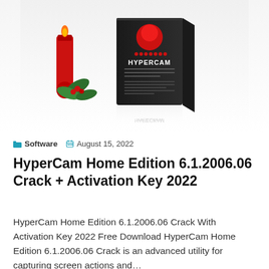[Figure (photo): HyperCam software product box with a red candle and green holly leaves on a white reflective surface]
Software  August 15, 2022
HyperCam Home Edition 6.1.2006.06 Crack + Activation Key 2022
HyperCam Home Edition 6.1.2006.06 Crack With Activation Key 2022 Free Download HyperCam Home Edition 6.1.2006.06 Crack is an advanced utility for capturing screen actions and…